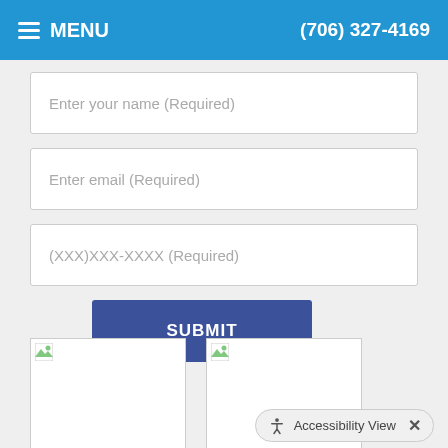MENU  (706) 327-4169
Enter your name (Required)
Enter email (Required)
(XXX)XXX-XXXX (Required)
SUBMIT
[Figure (other): Two image placeholders shown side by side with broken image icons in top-left corners]
Accessibility View  X